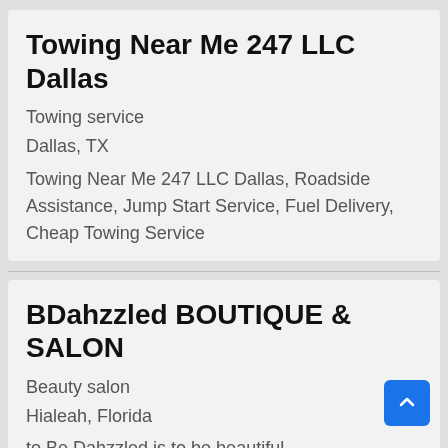Towing Near Me 247 LLC Dallas
Towing service
Dallas, TX
Towing Near Me 247 LLC Dallas, Roadside Assistance, Jump Start Service, Fuel Delivery, Cheap Towing Service
BDahzzled BOUTIQUE & SALON
Beauty salon
Hialeah, Florida
to Be Dahzzled is to be beautiful.